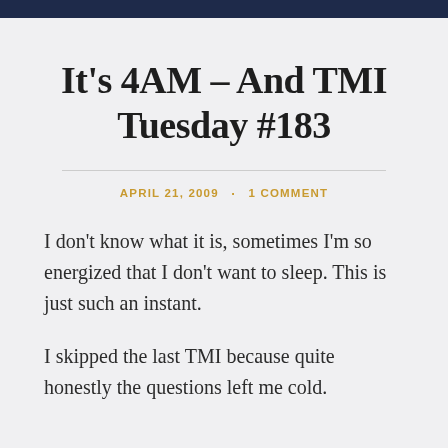It's 4AM – And TMI Tuesday #183
APRIL 21, 2009 · 1 COMMENT
I don't know what it is, sometimes I'm so energized that I don't want to sleep. This is just such an instant.
I skipped the last TMI because quite honestly the questions left me cold.